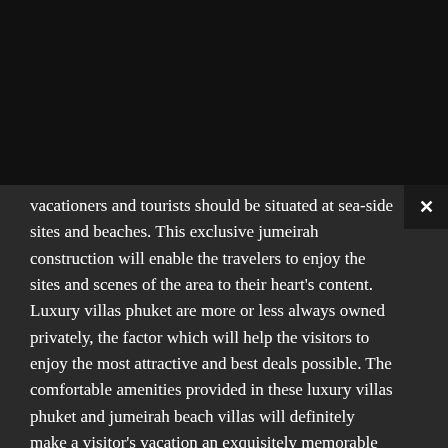vacationers and tourists should be situated at sea-side sites and beaches. This exclusive jumeirah construction will enable the travelers to enjoy the sites and scenes of the area to their heart's content. Luxury villas phuket are more or less always owned privately, the factor which will help the visitors to enjoy the most attractive and best deals possible. The comfortable amenities provided in these luxury villas phuket and jumeirah beach villas will definitely make a visitor's vacation an exquisitely memorable one. Baramabay private island has been one of the most frequently visited tourist destination in the continent of Asia. As a result, the demand for beach villas phuket has really seen a rise. Jumeirah beach villas will enable the